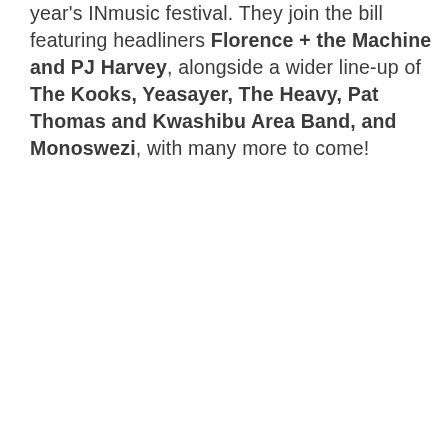year's INmusic festival. They join the bill featuring headliners Florence + the Machine and PJ Harvey, alongside a wider line-up of The Kooks, Yeasayer, The Heavy, Pat Thomas and Kwashibu Area Band, and Monoswezi, with many more to come!